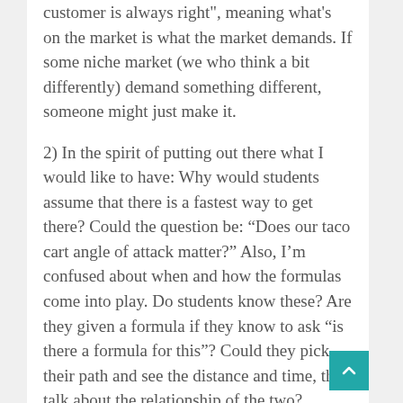customer is always right", meaning what's on the market is what the market demands. If some niche market (we who think a bit differently) demand something different, someone might just make it.
2) In the spirit of putting out there what I would like to have: Why would students assume that there is a fastest way to get there? Could the question be: “Does our taco cart angle of attack matter?” Also, I’m confused about when and how the formulas come into play. Do students know these? Are they given a formula if they know to ask “is there a formula for this”? Could they pick their path and see the distance and time, then talk about the relationship of the two? Maybe all that happens, and I’m just missing it from the